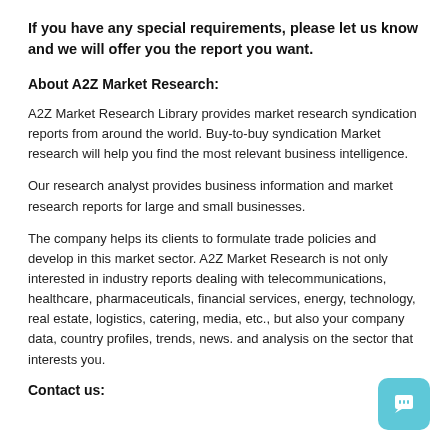If you have any special requirements, please let us know and we will offer you the report you want.
About A2Z Market Research:
A2Z Market Research Library provides market research syndication reports from around the world. Buy-to-buy syndication Market research will help you find the most relevant business intelligence.
Our research analyst provides business information and market research reports for large and small businesses.
The company helps its clients to formulate trade policies and develop in this market sector. A2Z Market Research is not only interested in industry reports dealing with telecommunications, healthcare, pharmaceuticals, financial services, energy, technology, real estate, logistics, catering, media, etc., but also your company data, country profiles, trends, news. and analysis on the sector that interests you.
Contact us: